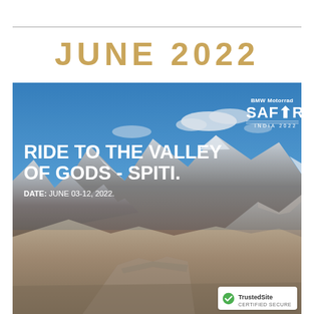JUNE 2022
[Figure (photo): BMW Motorrad Safari India 2022 promotional image featuring mountain landscape (Spiti Valley) with overlaid text: RIDE TO THE VALLEY OF GODS - SPITI. DATE: JUNE 03-12, 2022. BMW Motorrad Safari India 2022 logo in top right corner. TrustedSite Certified Secure badge in bottom right corner.]